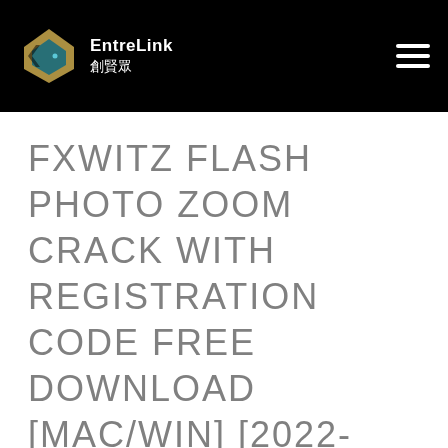EntreLink 創賢眾
FXWITZ FLASH PHOTO ZOOM CRACK WITH REGISTRATION CODE FREE DOWNLOAD [MAC/WIN] [2022-LATEST]
FXWitz Flash Photo Zoom is a simple utility designed to help prepare images of a lower resolution to be published on a web page where it can be zoomed in without impacting on the quality too much.